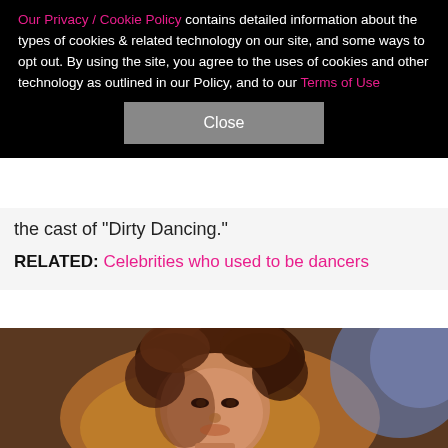Our Privacy / Cookie Policy contains detailed information about the types of cookies & related technology on our site, and some ways to opt out. By using the site, you agree to the uses of cookies and other technology as outlined in our Policy, and to our Terms of Use
Close
the cast of "Dirty Dancing."
RELATED: Celebrities who used to be dancers
[Figure (photo): Close-up photo of a woman with curly auburn hair looking upward, warm amber/brown lighting, partial blue blur in background.]